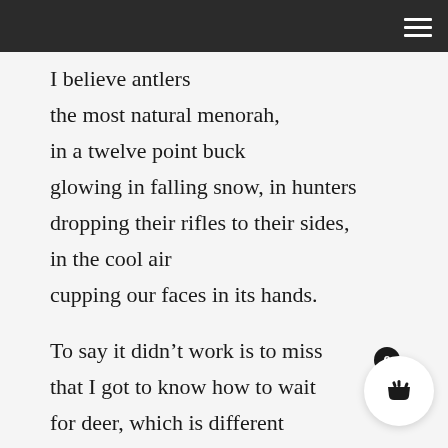I believe antlers
the most natural menorah,
in a twelve point buck
glowing in falling snow, in hunters
dropping their rifles to their sides,
in the cool air
cupping our faces in its hands.

To say it didn’t work is to miss
that I got to know how to wait
for deer, which is different
than waiting for bear, or love,
or a phrase of sufficient tenderness